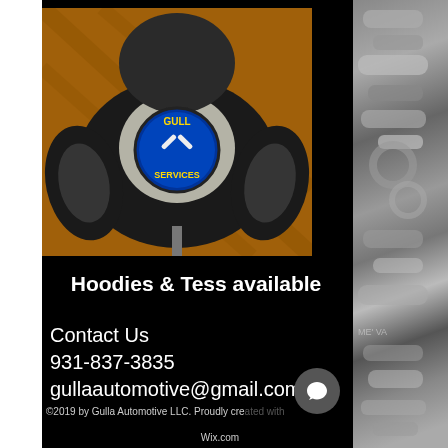[Figure (photo): A bleach-dyed dark hoodie sweatshirt displayed on a mannequin, featuring the 'Gulla Services' logo on the chest, worn indoors.]
Hoodies & Tess available
Contact Us
931-837-3835
gullaautomotive@gmail.com
©2019 by Gulla Automotive LLC. Proudly cre... Wix.com